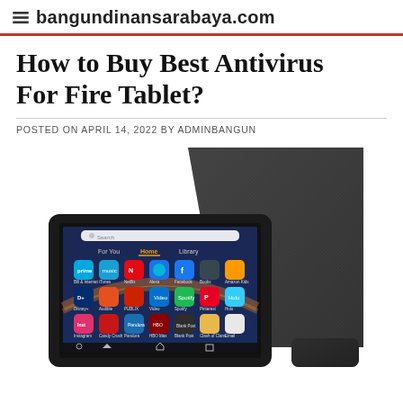bangundinansarabaya.com
How to Buy Best Antivirus For Fire Tablet?
POSTED ON APRIL 14, 2022 BY ADMINBANGUN
[Figure (photo): Amazon Fire tablet displayed with a black fabric folding stand/case propped open behind it. The tablet screen shows the Fire OS home screen with app icons including Prime Video, Music, Netflix, Alexa, Facebook, Books, Amazon Kids, Disney+, Audible, Publix, Video, Spotify, Pinterest, Hulu, Instagram, Candy Crush, Pandora, HBO Max, Blank Post, Clash of Clans, Email. Navigation bar visible at bottom.]